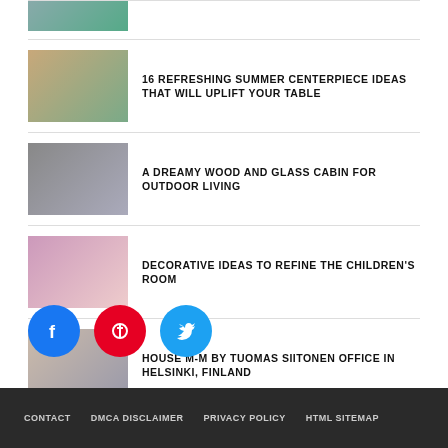[Figure (photo): Partial thumbnail of first article, cropped at top]
16 REFRESHING SUMMER CENTERPIECE IDEAS THAT WILL UPLIFT YOUR TABLE
[Figure (photo): Thumbnail of wood and glass cabin]
A DREAMY WOOD AND GLASS CABIN FOR OUTDOOR LIVING
[Figure (photo): Thumbnail of children's room]
DECORATIVE IDEAS TO REFINE THE CHILDREN'S ROOM
[Figure (photo): Thumbnail of House M-M building]
HOUSE M-M BY TUOMAS SIITONEN OFFICE IN HELSINKI, FINLAND
[Figure (other): Social media buttons: Facebook, Pinterest, Twitter]
CONTACT  DMCA DISCLAIMER  PRIVACY POLICY  HTML SITEMAP